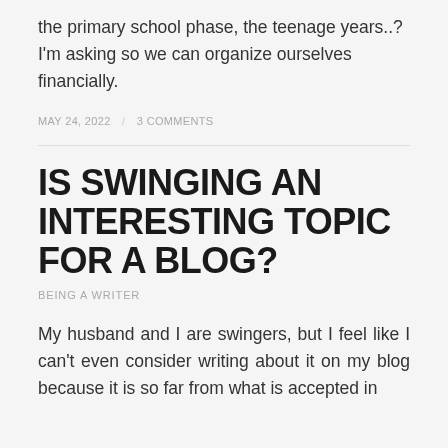the primary school phase, the teenage years..? I'm asking so we can organize ourselves financially.
MAY 24, 2022 / 3 COMMENTS
IS SWINGING AN INTERESTING TOPIC FOR A BLOG?
BEING A WRITER
My husband and I are swingers, but I feel like I can't even consider writing about it on my blog because it is so far from what is accepted in